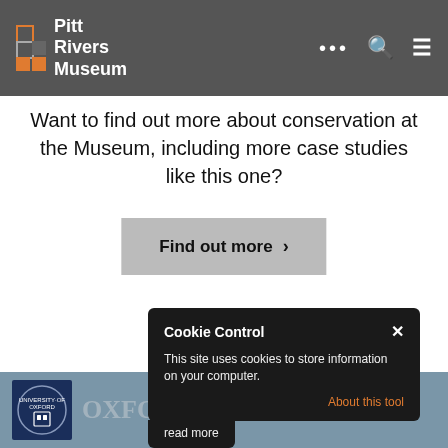Pitt Rivers Museum
Want to find out more about conservation at the Museum, including more case studies like this one?
Find out more >
[Figure (logo): University of Oxford logo — blue shield crest]
OXFORD
Cookie Control
This site uses cookies to store information on your computer.
About this tool
read more